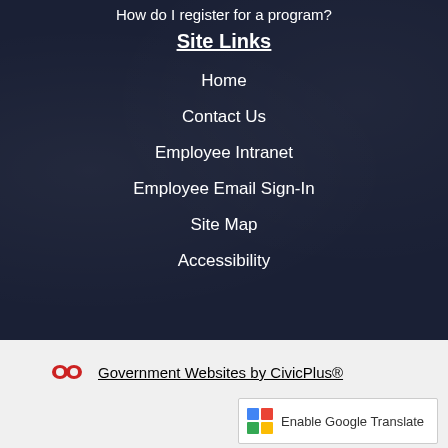How do I register for a program?
Site Links
Home
Contact Us
Employee Intranet
Employee Email Sign-In
Site Map
Accessibility
Government Websites by CivicPlus®
Enable Google Translate